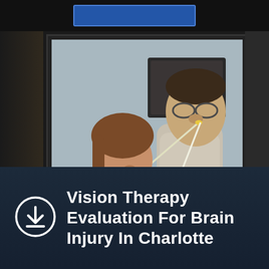[Figure (photo): A healthcare professional in teal scrubs administering a nasal treatment to an older male patient wearing glasses, in a clinical setting. The provider is holding a tube/catheter to the patient's nose while pointing with a gloved hand.]
Vision Therapy Evaluation For Brain Injury In Charlotte